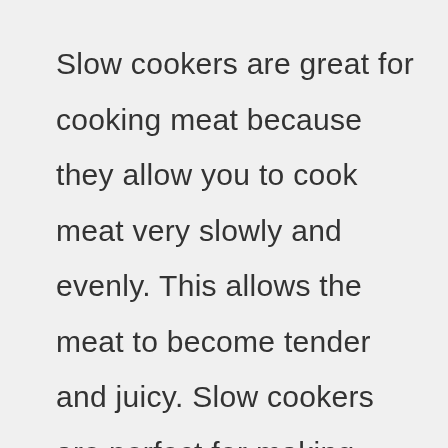Slow cookers are great for cooking meat because they allow you to cook meat very slowly and evenly. This allows the meat to become tender and juicy. Slow cookers are perfect for making stews, soups, chili, and other dishes where you want to let the meat simmer